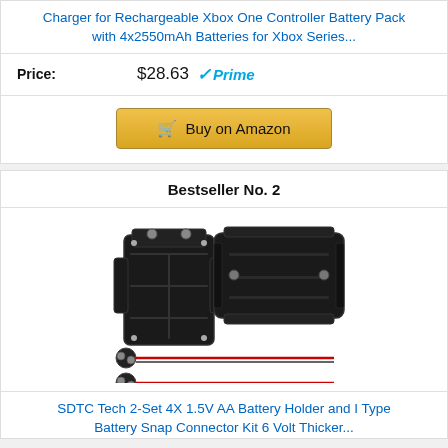Charger for Rechargeable Xbox One Controller Battery Pack with 4x2550mAh Batteries for Xbox Series...
Price: $28.63 Prime
Buy on Amazon
Bestseller No. 2
[Figure (photo): Two black 4x AA battery holders shown from front and side, plus two battery snap connector cables with red and black wires]
SDTC Tech 2-Set 4X 1.5V AA Battery Holder and I Type Battery Snap Connector Kit 6 Volt Thicker...